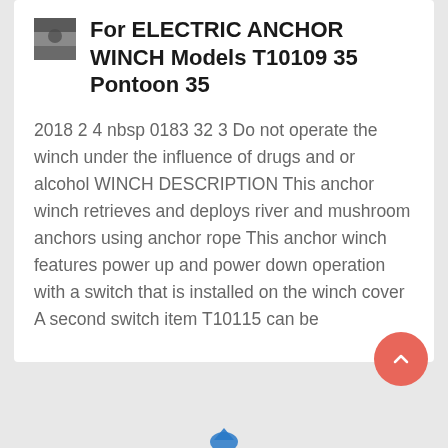[Figure (photo): Small thumbnail image in top-left corner of card, appears to show a person or object, grayscale/dark tones]
For ELECTRIC ANCHOR WINCH Models T10109 35 Pontoon 35
2018 2 4 nbsp 0183 32 3 Do not operate the winch under the influence of drugs and or alcohol WINCH DESCRIPTION This anchor winch retrieves and deploys river and mushroom anchors using anchor rope This anchor winch features power up and power down operation with a switch that is installed on the winch cover A second switch item T10115 can be